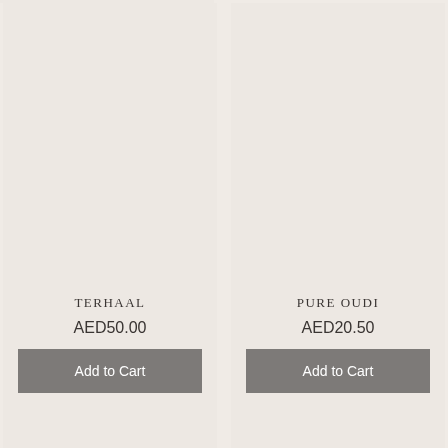[Figure (photo): Product card for TERHAAL - large beige/cream colored product image placeholder]
TERHAAL
AED50.00
Add to Cart
[Figure (photo): Product card for PURE OUDI - large beige/cream colored product image placeholder]
PURE OUDI
AED20.50
Add to Cart
[Figure (photo): Partial product card at bottom left - beige/cream colored]
[Figure (photo): Partial product card at bottom right - beige/cream colored]